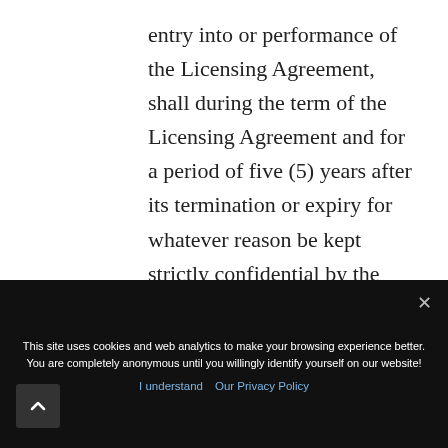entry into or performance of the Licensing Agreement, shall during the term of the Licensing Agreement and for a period of five (5) years after its termination or expiry for whatever reason be kept strictly confidential by the Receiving Party and not be used by it for any other purpose than the
This site uses cookies and web analytics to make your browsing experience better. You are completely anonymous until you willingly identify yourself on our website!
I understand  Our Privacy Policy